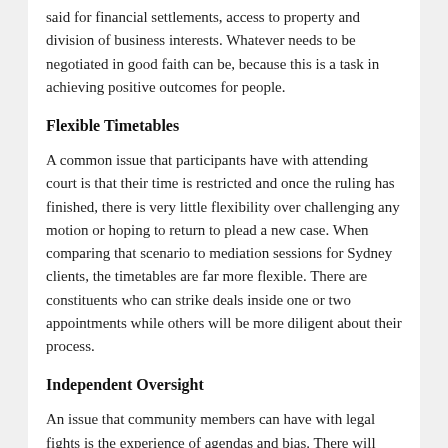said for financial settlements, access to property and division of business interests. Whatever needs to be negotiated in good faith can be, because this is a task in achieving positive outcomes for people.
Flexible Timetables
A common issue that participants have with attending court is that their time is restricted and once the ruling has finished, there is very little flexibility over challenging any motion or hoping to return to plead a new case. When comparing that scenario to mediation sessions for Sydney clients, the timetables are far more flexible. There are constituents who can strike deals inside one or two appointments while others will be more diligent about their process.
Independent Oversight
An issue that community members can have with legal fights is the experience of agendas and bias. There will always be motives in play in those circumstances, especially when lawyers are tasked with fighting hard for